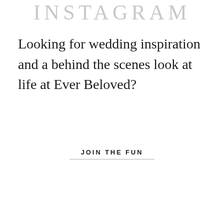INSTAGRAM
Looking for wedding inspiration and a behind the scenes look at life at Ever Beloved?
JOIN THE FUN